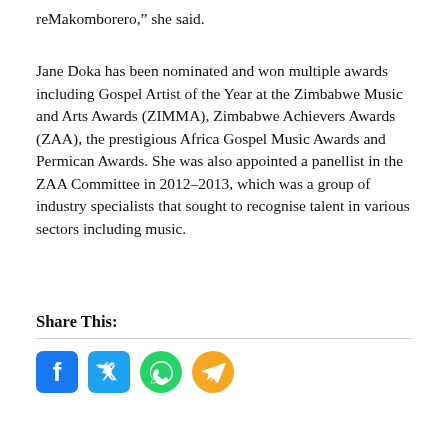reMakomborero," she said.
Jane Doka has been nominated and won multiple awards including Gospel Artist of the Year at the Zimbabwe Music and Arts Awards (ZIMMA), Zimbabwe Achievers Awards (ZAA), the prestigious Africa Gospel Music Awards and Permican Awards. She was also appointed a panellist in the ZAA Committee in 2012–2013, which was a group of industry specialists that sought to recognise talent in various sectors including music.
Share This:
[Figure (infographic): Social media share icons: Facebook (blue), Twitter (light blue), WhatsApp (green), Telegram (orange)]